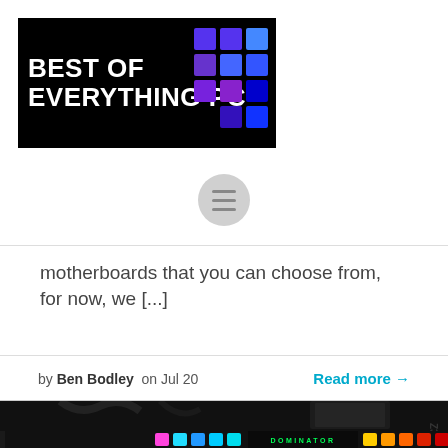[Figure (logo): Best of Everything PC logo — white text on black background with colorful grid pattern of squares in blue and purple]
[Figure (other): Hamburger menu icon inside a grey circle]
motherboards that you can choose from, for now, we [...]
by Ben Bodley  on Jul 20     Read more →
[Figure (photo): Close-up photo of a PC motherboard with Corsair Dominator RGB RAM sticks showing colorful LED lighting (pink, cyan, blue, green) and a CPU cooler mounted on a Z370 motherboard]